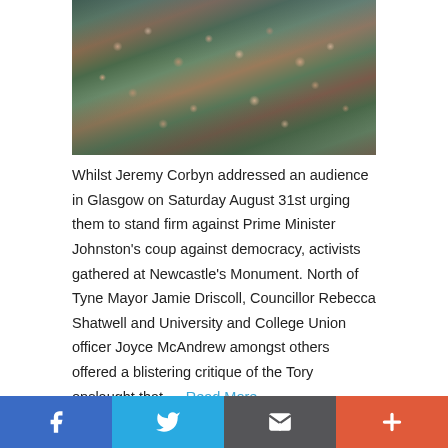[Figure (photo): Aerial view of a large crowd of political activists gathered at Newcastle's Monument, with people densely packed, some holding signs and flags including a EU flag visible at the top left.]
Whilst Jeremy Corbyn addressed an audience in Glasgow on Saturday August 31st urging them to stand firm against Prime Minister Johnston's coup against democracy, activists gathered at Newcastle's Monument. North of Tyne Mayor Jamie Driscoll, Councillor Rebecca Shatwell and University and College Union officer Joyce McAndrew amongst others offered a blistering critique of the Tory onslaught that … Read More